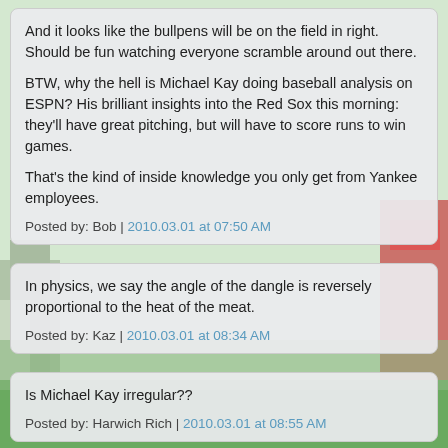And it looks like the bullpens will be on the field in right. Should be fun watching everyone scramble around out there.

BTW, why the hell is Michael Kay doing baseball analysis on ESPN? His brilliant insights into the Red Sox this morning: they'll have great pitching, but will have to score runs to win games.

That's the kind of inside knowledge you only get from Yankee employees.
Posted by: Bob | 2010.03.01 at 07:50 AM
In physics, we say the angle of the dangle is reversely proportional to the heat of the meat.
Posted by: Kaz | 2010.03.01 at 08:34 AM
Is Michael Kay irregular??
Posted by: Harwich Rich | 2010.03.01 at 08:55 AM